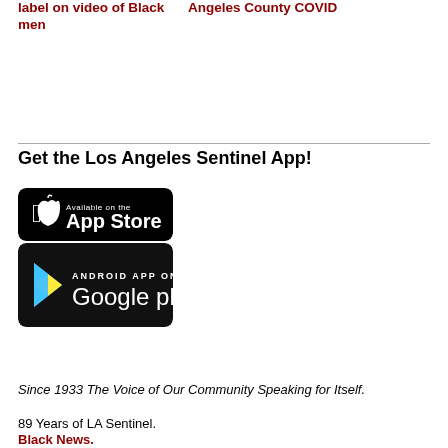label on video of Black men
Angeles County COVID
Get the Los Angeles Sentinel App!
[Figure (illustration): App Store badge (black rounded rectangle) with Apple logo and text 'Available on the App Store']
[Figure (illustration): Google Play badge (dark rounded rectangle) with Play Store triangle logo and text 'ANDROID APP ON Google play']
Since 1933 The Voice of Our Community Speaking for Itself.
89 Years of LA Sentinel.
Black News.